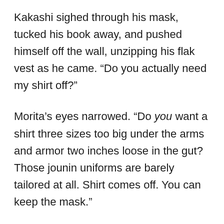Kakashi sighed through his mask, tucked his book away, and pushed himself off the wall, unzipping his flak vest as he came. “Do you actually need my shirt off?”
Morita’s eyes narrowed. “Do you want a shirt three sizes too big under the arms and armor two inches loose in the gut? Those jounin uniforms are barely tailored at all. Shirt comes off. You can keep the mask.”
The vest dropped on the floor by Ryouma’s feet. Ryouma shrugged his own vest on, not bothering to force his shirt over the bandage, and tucked his